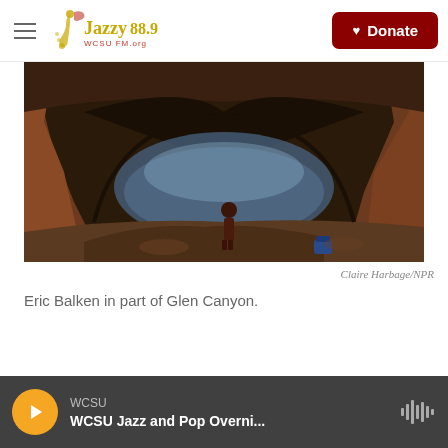Jazzy 88.9 WCSU — Donate
[Figure (photo): A person stands inside a large rock cave arch opening onto a body of water (part of Glen Canyon), surrounded by reddish-brown canyon walls and sandy ground. The scene is dimly lit with bluish water reflecting the sky.]
Claire Harbage/NPR
Eric Balken in part of Glen Canyon.
WCSU — WCSU Jazz and Pop Overni...